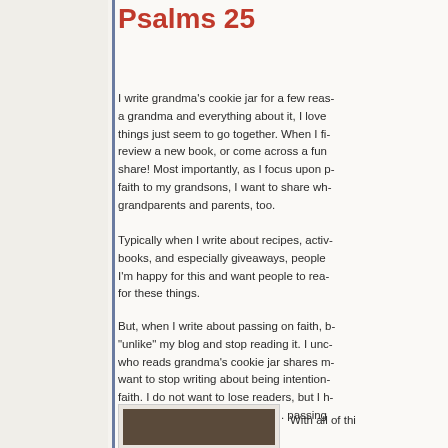Psalms 25
I write grandma's cookie jar for a few reas- a grandma and everything about it, I love things just seem to go together. When I fi- review a new book, or come across a fun share! Most importantly, as I focus upon p- faith to my grandsons, I want to share wh- grandparents and parents, too.
Typically when I write about recipes, activ- books, and especially giveaways, people I'm happy for this and want people to rea- for these things.
But, when I write about passing on faith, b- "unlike" my blog and stop reading it. I unc- who reads grandma's cookie jar shares m- want to stop writing about being intention- faith. I do not want to lose readers, but I h- what is most important to me . . . passing grandsons.
[Figure (photo): A small photo thumbnail at the bottom left of the content area, showing a dark brown image, partially visible.]
With all of thi